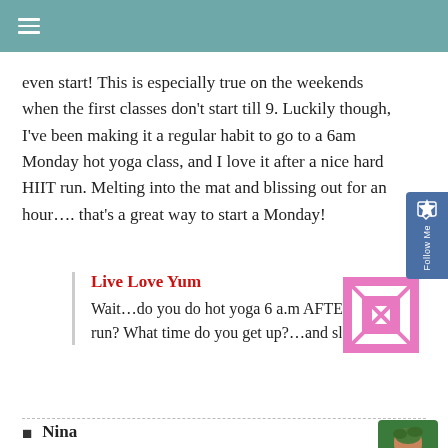≡
even start! This is especially true on the weekends when the first classes don't start till 9. Luckily though, I've been making it a regular habit to go to a 6am Monday hot yoga class, and I love it after a nice hard HIIT run. Melting into the mat and blissing out for an hour…. that's a great way to start a Monday!
Live Love Yum
Wait…do you do hot yoga 6 a.m AFTER a HIT run? What time do you get up?…and sleep?
[Figure (illustration): Pink and white decorative avatar with geometric pattern]
Nina
Good job on reaching your goals, Caitlin! I
[Figure (photo): Avatar photo of Nina with green foliage background]